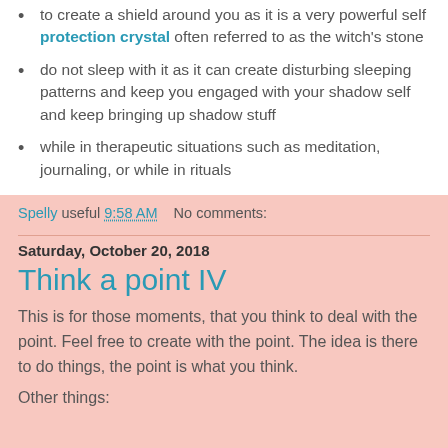to create a shield around you as it is a very powerful self protection crystal often referred to as the witch's stone
do not sleep with it as it can create disturbing sleeping patterns and keep you engaged with your shadow self and keep bringing up shadow stuff
while in therapeutic situations such as meditation, journaling, or while in rituals
Spelly useful 9:58 AM   No comments:
Saturday, October 20, 2018
Think a point IV
This is for those moments, that you think to deal with the point. Feel free to create with the point. The idea is there to do things, the point is what you think.
Other things: